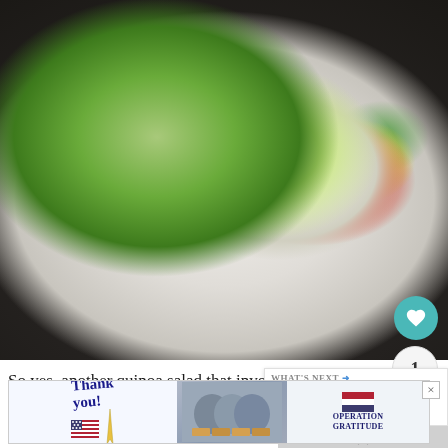[Figure (photo): A plate of quinoa salad with avocado slices on spinach leaves, diced red tomatoes, green herbs, yellow corn, on a white plate set on a dark woven place mat. Heart/like button (teal circle), count of 1, and share button visible on the right side.]
So yes, another quinoa salad that involved me … bits of this and that and the other and incorp… goodies from my CSA.  This week we got a bunch of
[Figure (infographic): WHAT'S NEXT → panel showing a thumbnail of a quinoa salad and the title 'Quinoa Salad with...' and an up-arrow button below.]
[Figure (screenshot): Advertisement banner: 'Thank you!' with American flag graphic and pencil on the left; photo of people wearing masks holding boxes in center; Operation Gratitude logo with flag on right. Close (X) button on upper right corner.]